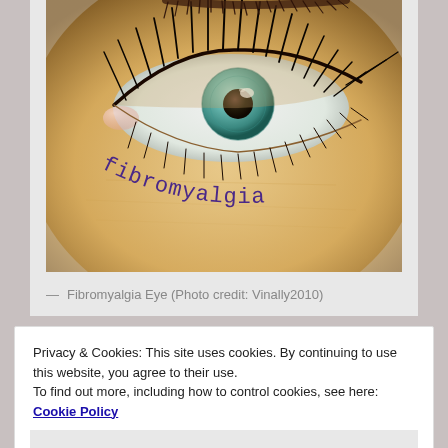[Figure (illustration): Illustration of a close-up human eye with long eyelashes on a warm skin-tone background. The text 'fibromyalgia' is written in a curved arc below the lower lashes in a dark serif/typewriter font. The eye has a teal/green-blue iris.]
— Fibromyalgia Eye (Photo credit: Vinally2010)
Privacy & Cookies: This site uses cookies. By continuing to use this website, you agree to their use.
To find out more, including how to control cookies, see here: Cookie Policy